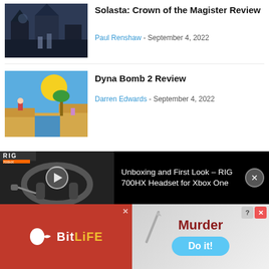[Figure (screenshot): Thumbnail for Solasta: Crown of the Magister Review — dark fantasy game scene]
Solasta: Crown of the Magister Review
Paul Renshaw - September 4, 2022
[Figure (screenshot): Thumbnail for Dyna Bomb 2 Review — colorful platformer game scene with sun and palm trees]
Dyna Bomb 2 Review
Darren Edwards - September 4, 2022
[Figure (screenshot): Video player bar showing RIG 700HX headset with play button, black background, text: Unboxing and First Look – RIG 700HX Headset for Xbox One]
[Figure (screenshot): Advertisement: BitLife app ad on red background with sperm logo and yellow text; Murder game ad on right with Do it! blue button]